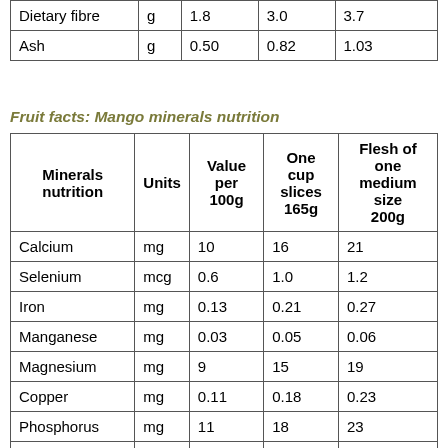|  | Units | Value per 100g | One cup slices 165g | Flesh of one medium size 200g |
| --- | --- | --- | --- | --- |
| Dietary fibre | g | 1.8 | 3.0 | 3.7 |
| Ash | g | 0.50 | 0.82 | 1.03 |
Fruit facts: Mango minerals nutrition
| Minerals nutrition | Units | Value per 100g | One cup slices 165g | Flesh of one medium size 200g |
| --- | --- | --- | --- | --- |
| Calcium | mg | 10 | 16 | 21 |
| Selenium | mcg | 0.6 | 1.0 | 1.2 |
| Iron | mg | 0.13 | 0.21 | 0.27 |
| Manganese | mg | 0.03 | 0.05 | 0.06 |
| Magnesium | mg | 9 | 15 | 19 |
| Copper | mg | 0.11 | 0.18 | 0.23 |
| Phosphorus | mg | 11 | 18 | 23 |
| Zinc | mg | 0.04 | 0.06 | 0.08 |
| Sodium | mg | 2 | 3 | 4 |